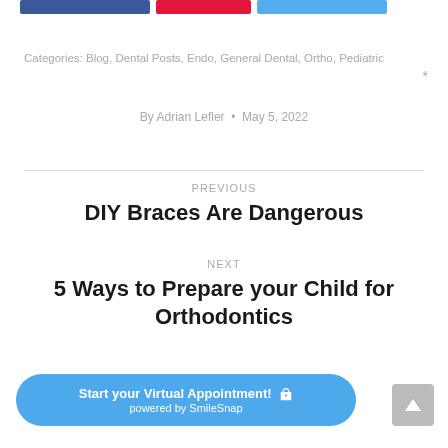[Figure (other): Social share buttons: Facebook (blue), Pinterest (red), Twitter (light blue)]
Categories: Blog, Dental Posts, Endo, General Dental, Ortho, Pediatric
By Adrian Lefler • May 5, 2022
PREVIOUS
DIY Braces Are Dangerous
NEXT
5 Ways to Prepare your Child for Orthodontics
[Figure (other): Start your Virtual Appointment! camera icon powered by SmileSnap — blue rounded button]
[Figure (other): Scroll to top arrow button — grey square with white upward arrow]